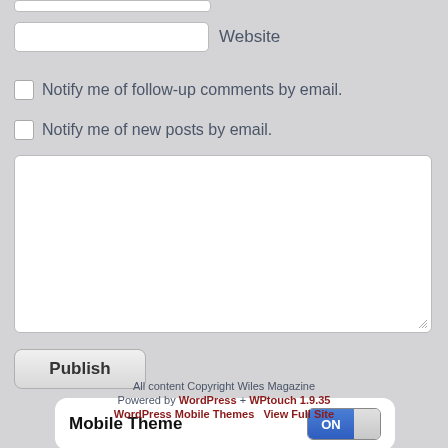Website
Notify me of follow-up comments by email.
Notify me of new posts by email.
[Figure (screenshot): A comment form textarea (empty white input box)]
Publish
[Figure (screenshot): Mobile Theme toggle switch set to ON]
All content Copyright Wiles Magazine
Powered by WordPress + WPtouch 1.9.35
WordPress Mobile Themes   View Full Site